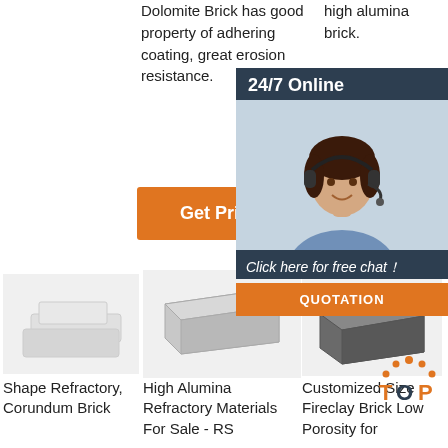Dolomite Brick has good property of adhering coating, great erosion resistance.
high alumina brick.
[Figure (other): Orange 'Get' button (partial)]
[Figure (other): 24/7 Online chat panel with customer service representative photo, 'Click here for free chat!' text, and QUOTATION button]
[Figure (other): Orange 'Get Price' button]
[Figure (photo): Shape Refractory Corundum Brick product image - white/grey brick pieces]
Shape Refractory, Corundum Brick
[Figure (photo): High Alumina Refractory Materials product image - grey rectangular brick]
High Alumina Refractory Materials For Sale - RS
[Figure (photo): Customized Size Fireclay Brick Low Porosity product image - dark grey brick]
Customized Size Fireclay Brick Low Porosity for
[Figure (logo): TOP icon with orange dots]